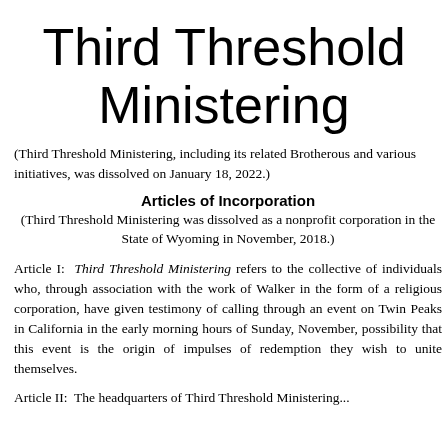Third Threshold Ministering
(Third Threshold Ministering, including its related Brotherhood and various initiatives, was dissolved on January 18, 2022.)
Articles of Incorporation
(Third Threshold Ministering was dissolved as a nonprofit corporation in the State of Wyoming in November, 2018.)
Article I:  Third Threshold Ministering refers to the collective of individuals who, through association with the work of Walker in the form of a religious corporation, have given testimony of calling through an event on Twin Peaks in California in the early morning hours of Sunday, November, possibility that this event is the origin of impulses of redemption they wish to unite themselves.
Article II:  The headquarters of Third Threshold Ministering...